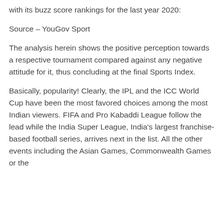with its buzz score rankings for the last year 2020:
Source – YouGov Sport
The analysis herein shows the positive perception towards a respective tournament compared against any negative attitude for it, thus concluding at the final Sports Index.
Basically, popularity! Clearly, the IPL and the ICC World Cup have been the most favored choices among the most Indian viewers. FIFA and Pro Kabaddi League follow the lead while the India Super League, India's largest franchise-based football series, arrives next in the list. All the other events including the Asian Games, Commonwealth Games or the